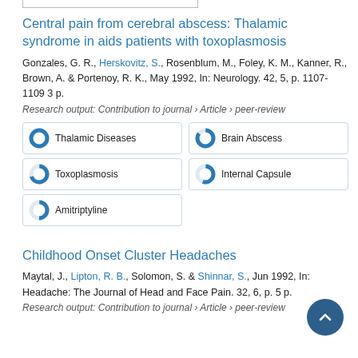Central pain from cerebral abscess: Thalamic syndrome in aids patients with toxoplasmosis
Gonzales, G. R., Herskovitz, S., Rosenblum, M., Foley, K. M., Kanner, R., Brown, A. & Portenoy, R. K., May 1992, In: Neurology. 42, 5, p. 1107-1109 3 p.
Research output: Contribution to journal › Article › peer-review
[Figure (infographic): Five keyword badges: Thalamic Diseases (100%), Brain Abscess (~85%), Toxoplasmosis (~70%), Internal Capsule (~55%), Amitriptyline (~50%)]
Childhood Onset Cluster Headaches
Maytal, J., Lipton, R. B., Solomon, S. & Shinnar, S., Jun 1992, In: Headache: The Journal of Head and Face Pain. 32, 6, p. 5 p.
Research output: Contribution to journal › Article › peer-review